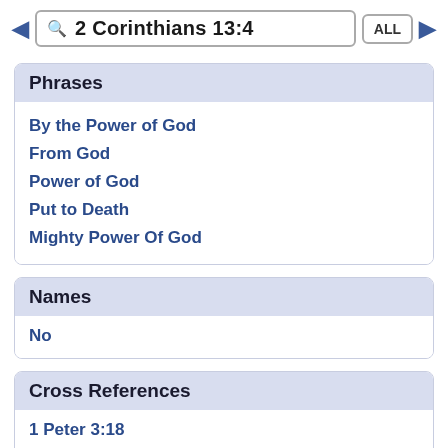2 Corinthians 13:4
Phrases
By the Power of God
From God
Power of God
Put to Death
Mighty Power Of God
Names
No
Cross References
1 Peter 3:18
For Christ also died for sins once for all, the just for the unjust, so that He might bring us to God, having been